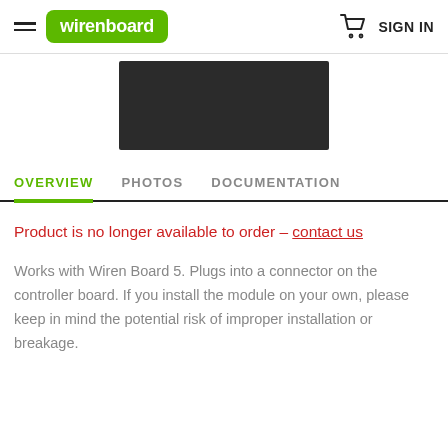wirenboard | SIGN IN
[Figure (photo): Dark product photo of an electronic module/board, shown on a white background]
OVERVIEW  PHOTOS  DOCUMENTATION
Product is no longer available to order – contact us
Works with Wiren Board 5. Plugs into a connector on the controller board. If you install the module on your own, please keep in mind the potential risk of improper installation or breakage.